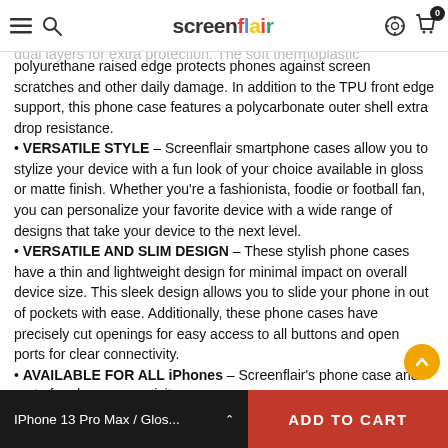screenflair — navigation header with hamburger, search, logo, settings, and cart icons
will, at minimum, survive a four-foot drop and still be functional. PURE DUAL LAYER DESIGN – decorative phone case dual layers for extra protection. The soft thermoplastic polyurethane raised edge protects phones against screen scratches and other daily damage. In addition to the TPU front edge support, this phone case features a polycarbonate outer shell extra drop resistance.
• VERSATILE STYLE – Screenflair smartphone cases allow you to stylize your device with a fun look of your choice available in gloss or matte finish. Whether you're a fashionista, foodie or football fan, you can personalize your favorite device with a wide range of designs that take your device to the next level.
• VERSATILE AND SLIM DESIGN – These stylish phone cases have a thin and lightweight design for minimal impact on overall device size. This sleek design allows you to slide your phone in out of pockets with ease. Additionally, these phone cases have precisely cut openings for easy access to all buttons and open ports for clear connectivity.
• AVAILABLE FOR ALL iPhones – Screenflair's phone case and screen protectors are available for all the following Apple iPhone variations: iPhone 5, iPhone SE, iPhone 6, iPhone 6 Plus, iPhone 6s, iPhone 6s Plus, iPhone 7, iPhone 7 Plus, iPhone 8, iPhone 8 Plus, iPhone 9, iPhone X, iPhone XS Max, iPhone 11, iPhone 11 Pro, iPhone 11 Pro Max, iPhone 12, iPhone 12 Pro, iPhone 12 Pro Max, iPhone 12 Mini,
IPhone 13 Pro Max / Glos... ∧  ADD TO CART